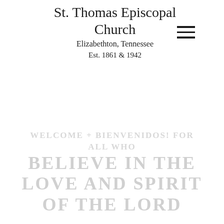St. Thomas Episcopal Church
Elizabethton, Tennessee
Est. 1861 & 1942
[Figure (other): Hamburger/navigation menu icon — three horizontal lines]
WELCOME + BIENVENIDOS! FOR ALL WHO BELIEVE IN THE LOVE AND SPIRIT OF THE LORD